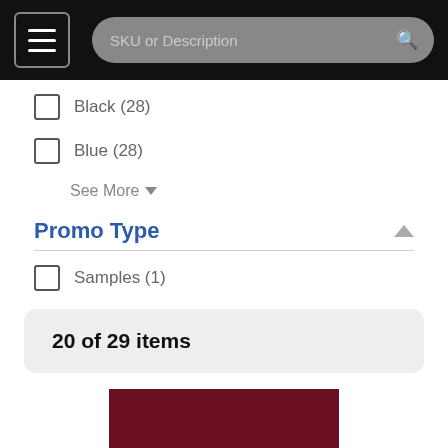SKU or Description
Black (28)
Blue (28)
See More
Promo Type
Samples (1)
20 of 29 items
[Figure (photo): Dark maroon/burgundy product image]